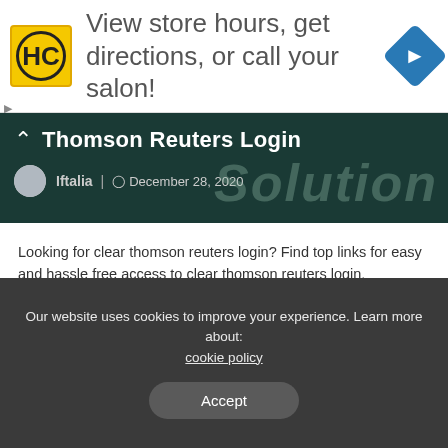[Figure (infographic): Advertisement banner with HC logo (yellow circle with HC text in black circle), text 'View store hours, get directions, or call your salon!' in gray, and a blue diamond navigation arrow icon on the right. Small play and X controls on the left below.]
Thomson Reuters Login
Iftalia  December 28, 2020
Looking for clear thomson reuters login? Find top links for easy and hassle free access to clear thomson reuters login.
CLEAR® | Thomson Reuters
With fast access to a vast collection of public and proprietary
Our website uses cookies to improve your experience. Learn more about: cookie policy
Accept